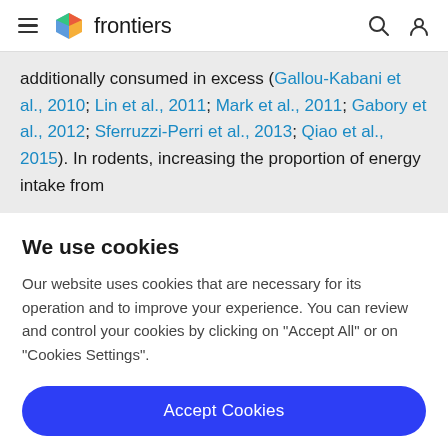frontiers
additionally consumed in excess (Gallou-Kabani et al., 2010; Lin et al., 2011; Mark et al., 2011; Gabory et al., 2012; Sferruzzi-Perri et al., 2013; Qiao et al., 2015). In rodents, increasing the proportion of energy intake from
We use cookies
Our website uses cookies that are necessary for its operation and to improve your experience. You can review and control your cookies by clicking on "Accept All" or on "Cookies Settings".
Accept Cookies
Cookies Settings